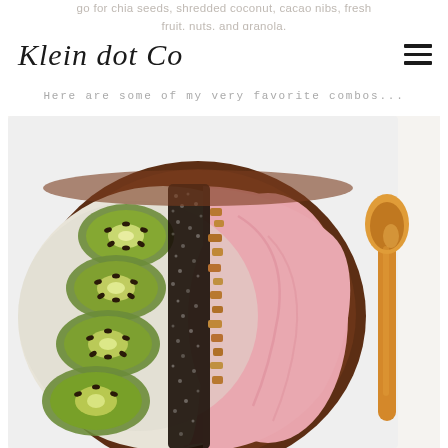go for chia seeds, shredded coconut, cacao nibs, fresh fruit, nuts, and granola.
Klein dot Co
Here are some of my very favorite combos...
[Figure (photo): A smoothie bowl in a dark wooden bowl, topped with sliced kiwi on the left, a strip of chia seeds in the middle, granola pieces, and pink strawberry smoothie on the right. An orange ceramic spoon rests to the right of the bowl on a white plate.]